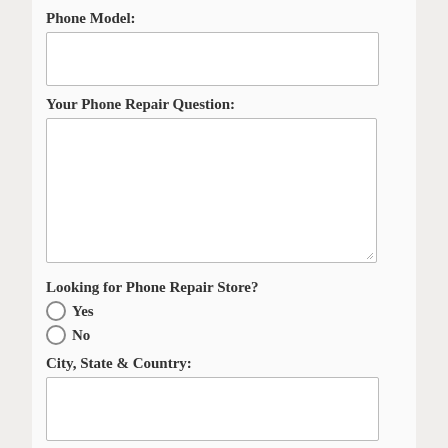Phone Model:
[Figure (other): Empty text input box for Phone Model field]
Your Phone Repair Question:
[Figure (other): Large empty textarea for phone repair question with resize handle]
Looking for Phone Repair Store?
Yes
No
City, State & Country:
[Figure (other): Empty text input box for City, State & Country field]